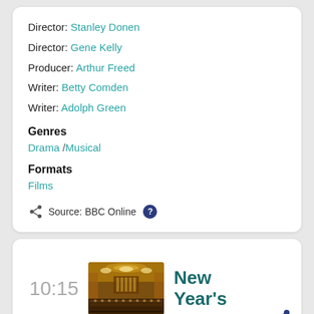Director: Stanley Donen
Director: Gene Kelly
Producer: Arthur Freed
Writer: Betty Comden
Writer: Adolph Green
Genres
Drama / Musical
Formats
Films
Source: BBC Online
10:15
[Figure (photo): Concert hall with orchestra and ornate gold interior]
New Year's